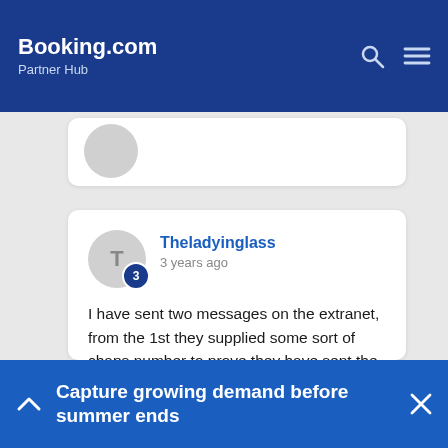Booking.com Partner Hub
Theladyinglass
3 years ago

I have sent two messages on the extranet, from the 1st they supplied some sort of chaps number to prove they have sent the money, from the second I have had no reply. When I contacted them by phone twice, they said there was nothing they could do and I would have to be patient. Sorry but patience does not pay the bills
Capture growing demand before summer ends